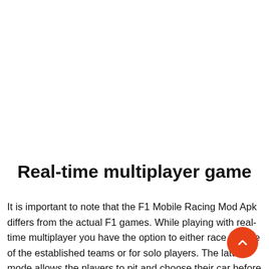Real-time multiplayer game
It is important to note that the F1 Mobile Racing Mod Apk differs from the actual F1 games. While playing with real-time multiplayer you have the option to either race for one of the established teams or for solo players. The latter mode allows the players to pit and choose their car before the race starts. The challenges in racing game are categorized under teams that have their own logos and